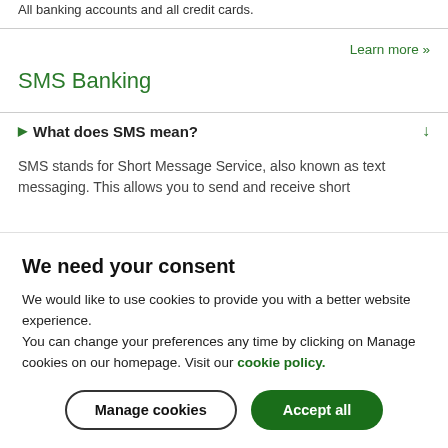All banking accounts and all credit cards.
Learn more »
SMS Banking
What does SMS mean?
SMS stands for Short Message Service, also known as text messaging. This allows you to send and receive short
We need your consent
We would like to use cookies to provide you with a better website experience.
You can change your preferences any time by clicking on Manage cookies on our homepage. Visit our cookie policy.
Manage cookies
Accept all